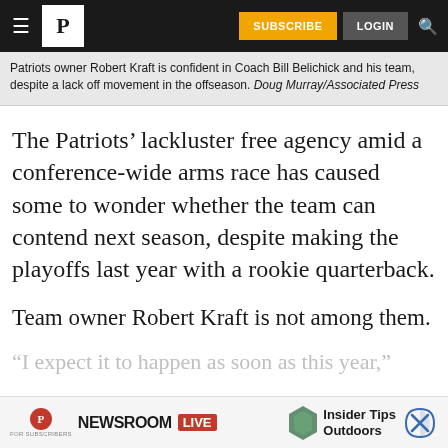P | SUBSCRIBE | LOGIN
Patriots owner Robert Kraft is confident in Coach Bill Belichick and his team, despite a lack off movement in the offseason. Doug Murray/Associated Press
The Patriots’ lackluster free agency amid a conference-wide arms race has caused some to wonder whether the team can contend next season, despite making the playoffs last year with a rookie quarterback.
Team owner Robert Kraft is not among them.
“I expect it to happen as soon as this year,”
[Figure (screenshot): Newsroom Live advertisement bar with insider tips for outdoors]